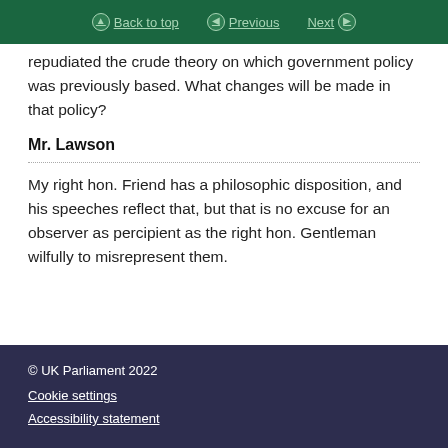Back to top | Previous | Next
repudiated the crude theory on which government policy was previously based. What changes will be made in that policy?
Mr. Lawson
My right hon. Friend has a philosophic disposition, and his speeches reflect that, but that is no excuse for an observer as percipient as the right hon. Gentleman wilfully to misrepresent them.
© UK Parliament 2022
Cookie settings
Accessibility statement